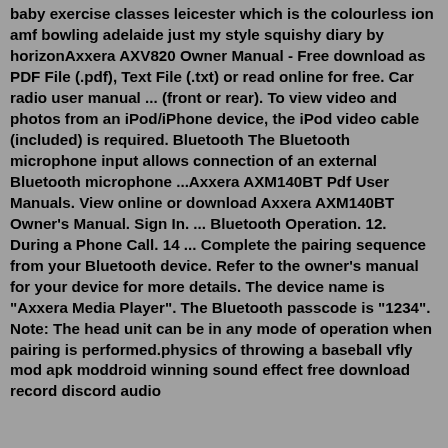baby exercise classes leicester which is the colourless ion amf bowling adelaide just my style squishy diary by horizonAxxera AXV820 Owner Manual - Free download as PDF File (.pdf), Text File (.txt) or read online for free. Car radio user manual ... (front or rear). To view video and photos from an iPod/iPhone device, the iPod video cable (included) is required. Bluetooth The Bluetooth microphone input allows connection of an external Bluetooth microphone ...Axxera AXM140BT Pdf User Manuals. View online or download Axxera AXM140BT Owner's Manual. Sign In. ... Bluetooth Operation. 12. During a Phone Call. 14 ... Complete the pairing sequence from your Bluetooth device. Refer to the owner's manual for your device for more details. The device name is "Axxera Media Player". The Bluetooth passcode is "1234". Note: The head unit can be in any mode of operation when pairing is performed.physics of throwing a baseball vfly mod apk moddroid winning sound effect free download record discord audio